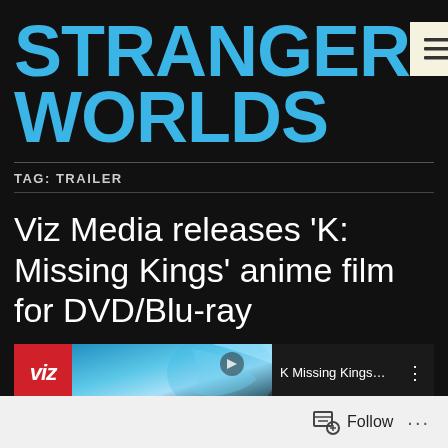STRANGER WORLDS
TAG: TRAILER
Viz Media releases ‘K: Missing Kings’ anime film for DVD/Blu-ray
[Figure (screenshot): Video player bar showing VIZ logo (red circle with white italic VIZ text), title 'K Missing Kings Official Movie Tra...' with an anime thumbnail showing blue hair and swirling lines, and a three-dot menu icon]
Follow ...